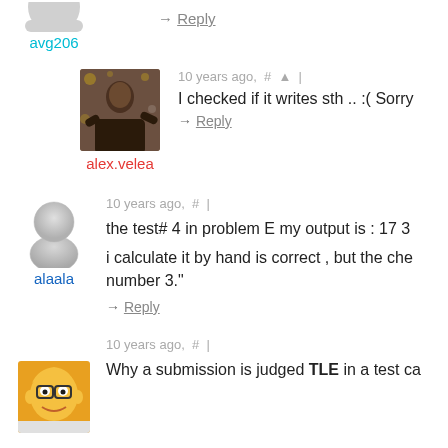avg206
→ Reply
[Figure (photo): Profile photo of alex.velea - man at an event with bokeh lights background]
10 years ago, # ▲ |
I checked if it writes sth .. :( Sorry
→ Reply
alex.velea
10 years ago, # |
the test# 4 in problem E my output is : 17 3
i calculate it by hand is correct , but the che number 3."
→ Reply
alaala
10 years ago, # |
Why a submission is judged TLE in a test ca
[Figure (illustration): Profile avatar showing Homer Simpson character]